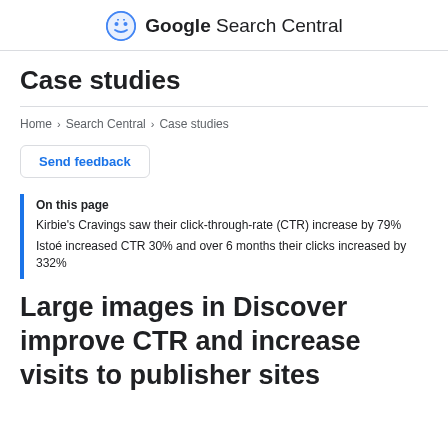Google Search Central
Case studies
Home > Search Central > Case studies
Send feedback
On this page
Kirbie's Cravings saw their click-through-rate (CTR) increase by 79%
Istoé increased CTR 30% and over 6 months their clicks increased by 332%
Large images in Discover improve CTR and increase visits to publisher sites